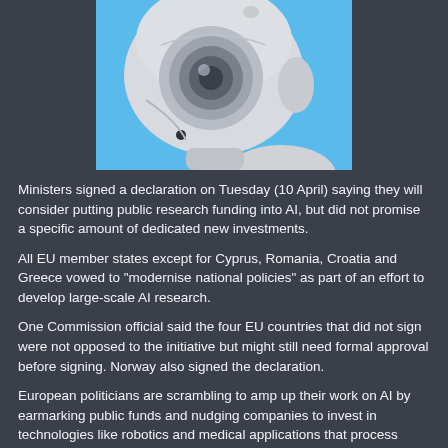[Figure (illustration): Close-up image of a white robot head with large circular eye/lens, set against a blue background]
Ministers signed a declaration on Tuesday (10 April) saying they will consider putting public research funding into AI, but did not promise a specific amount of dedicated new investments.
All EU member states except for Cyprus, Romania, Croatia and Greece vowed to "modernise national policies" as part of an effort to develop large-scale AI research.
One Commission official said the four EU countries that did not sign were not opposed to the initiative but might still need formal approval before signing. Norway also signed the declaration.
European politicians are scrambling to amp up their work on AI by earmarking public funds and nudging companies to invest in technologies like robotics and medical applications that process huge amounts of data.